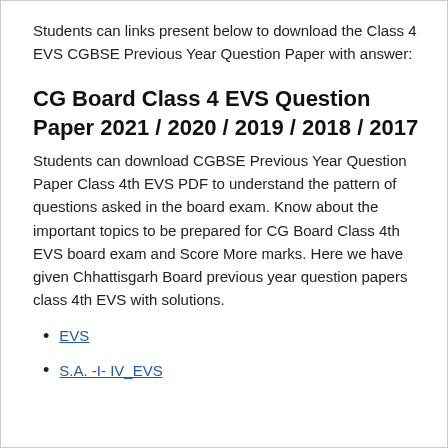Students can links present below to download the Class 4 EVS CGBSE Previous Year Question Paper with answer:
CG Board Class 4 EVS Question Paper 2021 / 2020 / 2019 / 2018 / 2017
Students can download CGBSE Previous Year Question Paper Class 4th EVS PDF to understand the pattern of questions asked in the board exam. Know about the important topics to be prepared for CG Board Class 4th EVS board exam and Score More marks. Here we have given Chhattisgarh Board previous year question papers class 4th EVS with solutions.
EVS
S.A. -I- IV_EVS